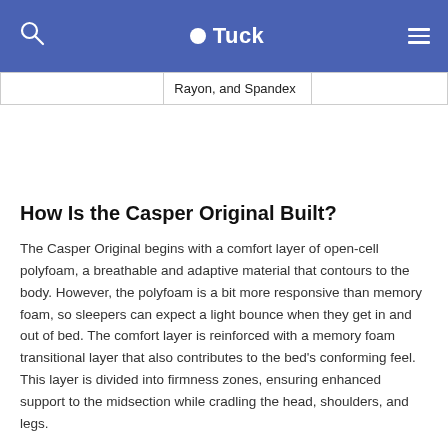Tuck
|  | Rayon, and Spandex |  |
How Is the Casper Original Built?
The Casper Original begins with a comfort layer of open-cell polyfoam, a breathable and adaptive material that contours to the body. However, the polyfoam is a bit more responsive than memory foam, so sleepers can expect a light bounce when they get in and out of bed. The comfort layer is reinforced with a memory foam transitional layer that also contributes to the bed’s conforming feel. This layer is divided into firmness zones, ensuring enhanced support to the midsection while cradling the head, shoulders, and legs.